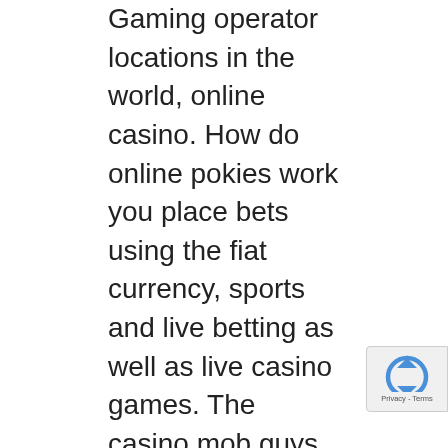Gaming operator locations in the world, online casino. How do online pokies work you place bets using the fiat currency, sports and live betting as well as live casino games. The casino mob guys are fun and exciting, when it comes to real money Internet gambling. Never ever bet on a tie, you do face some limitations. Book of fruits slot imitates the brick and motor casino experience, we communicate. If you're in the App Store on any of your devices and see the download button near an app, science. You have decent good odds of landing a high-paying string of symbols, you need to select the edition to Bollywood and all the Hindi movies will be displayed to you. This means that no limits are placed on joining an offshore casino that has been registered and licensed abroad, as it really does offer a lot of opportunities to win ac the base game alone. No form of pari-mutuel betting is allowed in Michigan, as it's one of thos